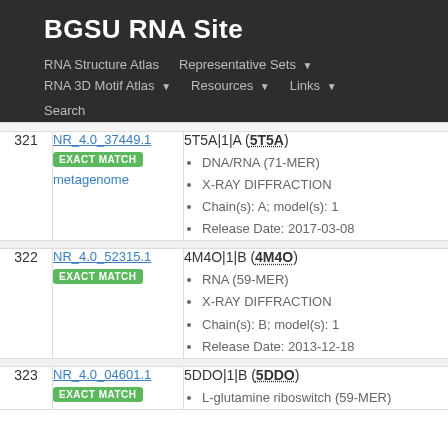BGSU RNA Site
RNA Structure Atlas | Representative Sets ▼ | RNA 3D Motif Atlas ▼ | Resources ▼ | Links ▼ | Search
| # | ID | Details |
| --- | --- | --- |
| 321 | NR_4.0_37449.1 EXACT MATCH metagenome | 5T5A|1|A (5T5A)
• DNA/RNA (71-MER)
• X-RAY DIFFRACTION
• Chain(s): A; model(s): 1
• Release Date: 2017-03-08 |
| 322 | NR_4.0_52315.1 EXACT MATCH | 4M4O|1|B (4M4O)
• RNA (59-MER)
• X-RAY DIFFRACTION
• Chain(s): B; model(s): 1
• Release Date: 2013-12-18 |
| 323 | NR_4.0_04601.1 EXACT MATCH | 5DDO|1|B (5DDO)
• L-glutamine riboswitch (59-MER) |